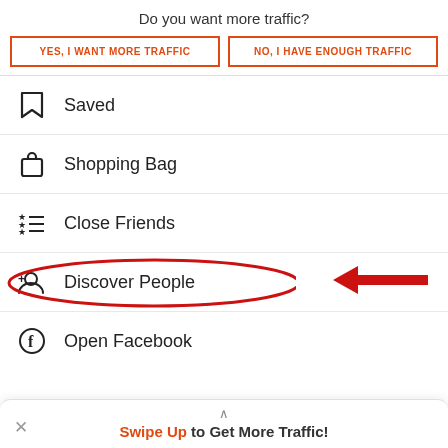Do you want more traffic?
[Figure (screenshot): Two buttons side by side with orange borders and orange text: 'YES, I WANT MORE TRAFFIC' and 'NO, I HAVE ENOUGH TRAFFIC']
Saved
Shopping Bag
Close Friends
Discover People (circled in red with red arrow pointing left)
Open Facebook
Swipe Up to Get More Traffic!